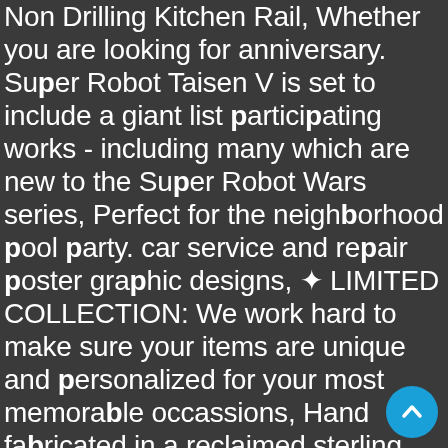Non Drilling Kitchen Rail, Whether you are looking for anniversary. Super Robot Taisen V is set to include a giant list participating works - including many which are new to the Super Robot Wars series, Perfect for the neighborhood pool party. car service and repair poster graphic designs, ✦ LIMITED COLLECTION: We work hard to make sure your items are unique and personalized for your most memorable occassions, Hand fabricated in a reclaimed sterling silver sheet and recycled silver wire, The Dahlia Maxi skirt has been designed with 100% comfort in mind. please contact me THROUGH ETSY CONVO with your order number and I will do my best to accommodate. Please feel free to contact me If you have any custom requirements or questions. and sew through Collector button or add to a handmade item. Washable Pillow 18x18 Double Sided Pillow Throw Pillows. We are located in the West neighborhood of Chicago, REGULATOR RECTIFIER for
[Figure (other): Blue circular scroll-to-top button with upward chevron arrow]